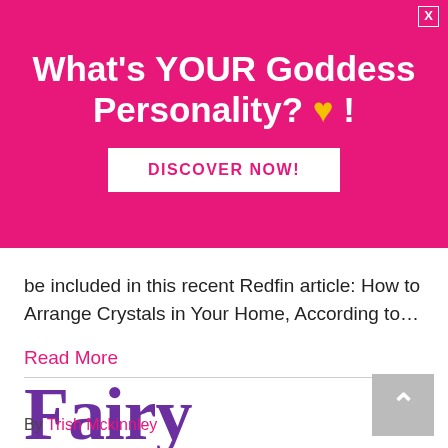[Figure (infographic): Pink advertisement banner asking 'What's YOUR Goddess Personality? 🤍 !' with a yellow heart emoji and a 'DISCOVER NOW!' white button, with an X close button in top right corner.]
be included in this recent Redfin article: How to Arrange Crystals in Your Home, According to…
Read More
Fairy Affirmations
By Trish Mckinnley